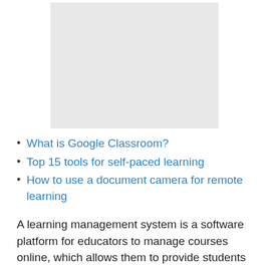[Figure (other): Gray placeholder image box, likely a screenshot or photo related to educational technology]
What is Google Classroom?
Top 15 tools for self-paced learning
How to use a document camera for remote learning
A learning management system is a software platform for educators to manage courses online, which allows them to provide students a single location for all